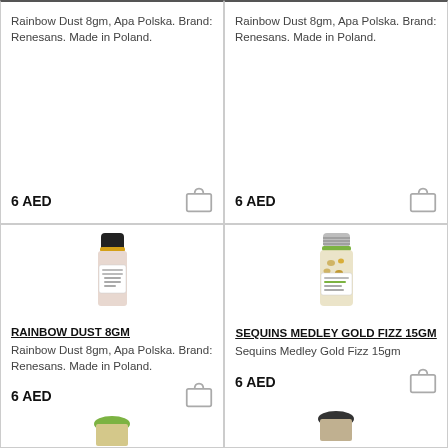Rainbow Dust 8gm, Apa Polska. Brand: Renesans. Made in Poland.
6 AED
Rainbow Dust 8gm, Apa Polska. Brand: Renesans. Made in Poland.
6 AED
[Figure (photo): Rainbow Dust 8gm product bottle with black cap and yellow label]
RAINBOW DUST 8GM
Rainbow Dust 8gm, Apa Polska. Brand: Renesans. Made in Poland.
6 AED
[Figure (photo): Sequins Medley Gold Fizz 15gm product bottle with silver cap and green label, containing gold sequins]
SEQUINS MEDLEY GOLD FIZZ 15GM
Sequins Medley Gold Fizz 15gm
6 AED
[Figure (photo): Product with green cap peeking at bottom left]
[Figure (photo): Product with dark cap peeking at bottom right]